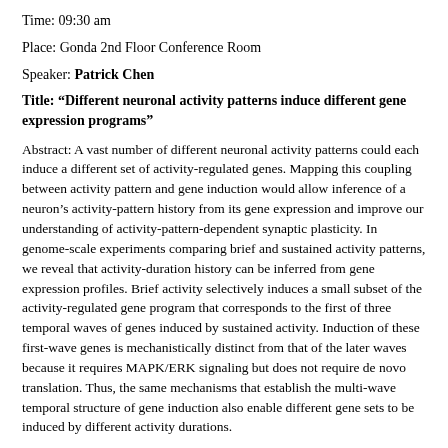Time: 09:30 am
Place: Gonda 2nd Floor Conference Room
Speaker: Patrick Chen
Title: “Different neuronal activity patterns induce different gene expression programs”
Abstract: A vast number of different neuronal activity patterns could each induce a different set of activity-regulated genes. Mapping this coupling between activity pattern and gene induction would allow inference of a neuron’s activity-pattern history from its gene expression and improve our understanding of activity-pattern-dependent synaptic plasticity. In genome-scale experiments comparing brief and sustained activity patterns, we reveal that activity-duration history can be inferred from gene expression profiles. Brief activity selectively induces a small subset of the activity-regulated gene program that corresponds to the first of three temporal waves of genes induced by sustained activity. Induction of these first-wave genes is mechanistically distinct from that of the later waves because it requires MAPK/ERK signaling but does not require de novo translation. Thus, the same mechanisms that establish the multi-wave temporal structure of gene induction also enable different gene sets to be induced by different activity durations. Presently, They all will be provided of